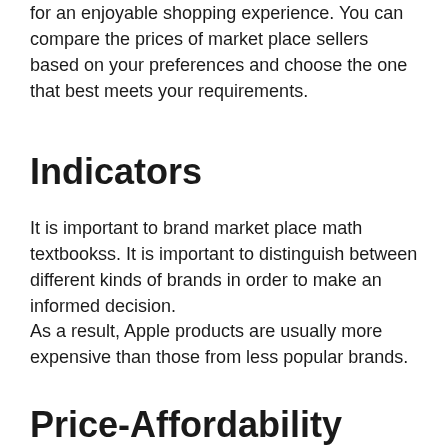for an enjoyable shopping experience. You can compare the prices of market place sellers based on your preferences and choose the one that best meets your requirements.
Indicators
It is important to brand market place math textbookss. It is important to distinguish between different kinds of brands in order to make an informed decision.
As a result, Apple products are usually more expensive than those from less popular brands.
Price-Affordability